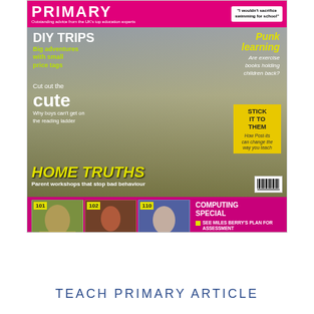[Figure (illustration): Cover of Teach Primary magazine. Top magenta bar with PRIMARY logo and tagline 'Outstanding advice from the UK's top education experts'. Main cover shows a smiling child with curly hair wearing green school uniform. Text overlays include: DIY TRIPS - Big adventures with small price tags; Punk learning - Are exercise books holding children back?; Cut out the cute - Why boys can't get on the reading ladder; HOME TRUTHS - Parent workshops that stop bad behaviour; STICK IT TO THEM - How Post-its can change the way you teach. Bottom magenta strip shows three numbered photo thumbnails (101, 102, 110) and Computing Special bullets.]
TEACH PRIMARY ARTICLE